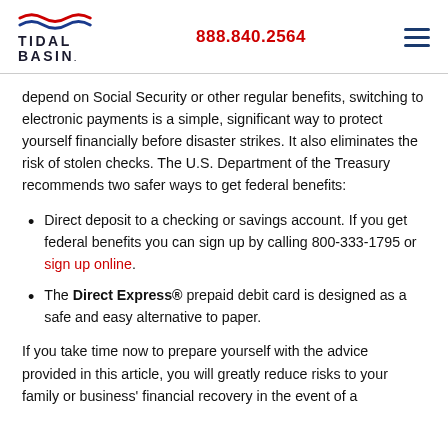Tidal Basin | 888.840.2564
depend on Social Security or other regular benefits, switching to electronic payments is a simple, significant way to protect yourself financially before disaster strikes. It also eliminates the risk of stolen checks. The U.S. Department of the Treasury recommends two safer ways to get federal benefits:
Direct deposit to a checking or savings account. If you get federal benefits you can sign up by calling 800-333-1795 or sign up online.
The Direct Express® prepaid debit card is designed as a safe and easy alternative to paper.
If you take time now to prepare yourself with the advice provided in this article, you will greatly reduce risks to your family or business' financial recovery in the event of a